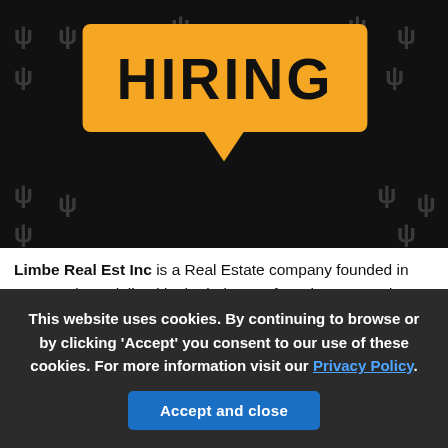[Figure (illustration): A dark background banner with the word HIRING in bold text inside a yellow speech bubble, surrounded by decorative symbols.]
Limbe Real Est Inc is a Real Estate company founded in 2006 and specialized in the industry of Real Estate and Rental and Leasing. The headquarters are in Oxnard.
The market type is the way that a company uses to make its commercial transactions. There are companies that operate B2B, B2C or both.
This website uses cookies. By continuing to browse or by clicking 'Accept' you consent to our use of these cookies. For more information visit our Privacy Policy.
Accept and close